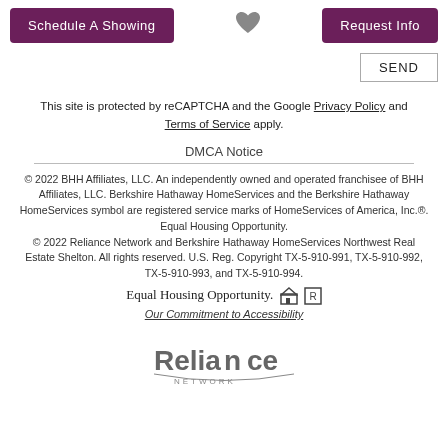Schedule A Showing | [heart icon] | Request Info
SEND
This site is protected by reCAPTCHA and the Google Privacy Policy and Terms of Service apply.
DMCA Notice
© 2022 BHH Affiliates, LLC. An independently owned and operated franchisee of BHH Affiliates, LLC. Berkshire Hathaway HomeServices and the Berkshire Hathaway HomeServices symbol are registered service marks of HomeServices of America, Inc.®. Equal Housing Opportunity. © 2022 Reliance Network and Berkshire Hathaway HomeServices Northwest Real Estate Shelton. All rights reserved. U.S. Reg. Copyright TX-5-910-991, TX-5-910-992, TX-5-910-993, and TX-5-910-994.
Equal Housing Opportunity.
Our Commitment to Accessibility
[Figure (logo): Reliance Network logo in grey text with stylized N]